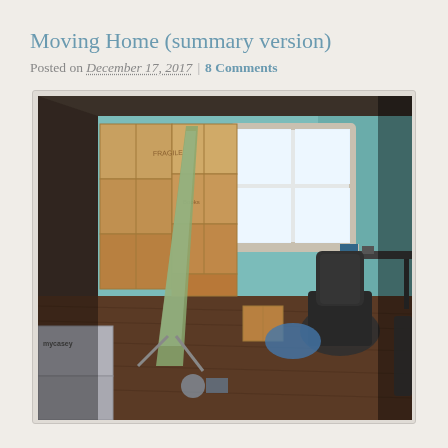Moving Home (summary version)
Posted on December 17, 2017 | 8 Comments
[Figure (photo): A room cluttered with stacked moving cardboard boxes along the left wall, an ironing board leaning against the boxes, a window with bright light in the background, a standing desk, an office chair, and miscellaneous items on the floor. The walls are painted light blue.]